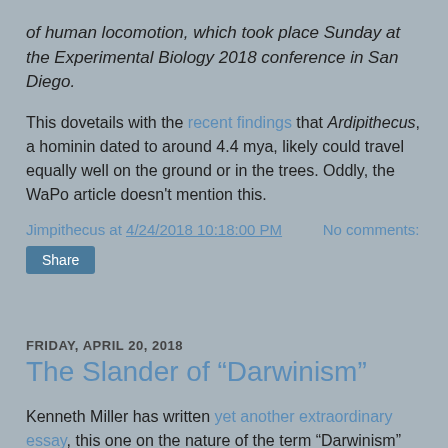of human locomotion, which took place Sunday at the Experimental Biology 2018 conference in San Diego.
This dovetails with the recent findings that Ardipithecus, a hominin dated to around 4.4 mya, likely could travel equally well on the ground or in the trees.  Oddly, the WaPo article doesn't mention this.
Jimpithecus at 4/24/2018 10:18:00 PM    No comments:
Share
FRIDAY, APRIL 20, 2018
The Slander of “Darwinism”
Kenneth Miller has written yet another extraordinary essay, this one on the nature of the term “Darwinism” and how it is pejoratively used by those insistent on trashing evolutionary theory.  He writes:
He could have just said he didn’t believe in